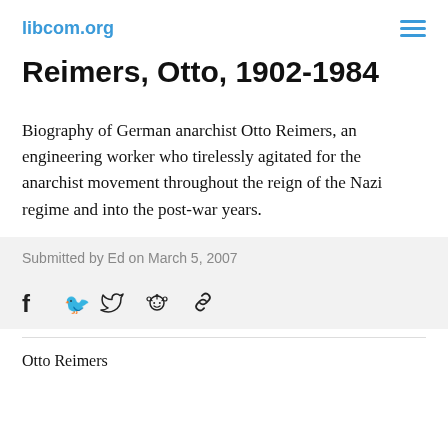libcom.org
Reimers, Otto, 1902-1984
Biography of German anarchist Otto Reimers, an engineering worker who tirelessly agitated for the anarchist movement throughout the reign of the Nazi regime and into the post-war years.
Submitted by Ed on March 5, 2007
[Figure (other): Social share icons: Facebook, Twitter, Reddit, Link]
Otto Reimers